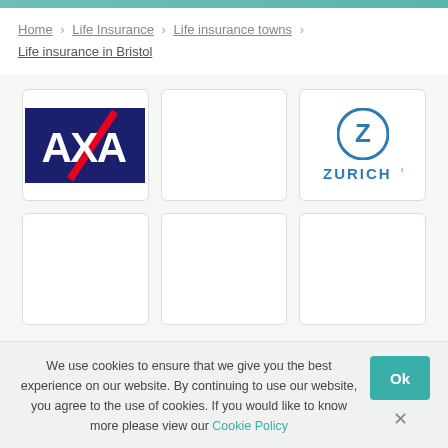Home › Life Insurance › Life insurance towns › Life insurance in Bristol
[Figure (logo): AXA insurance logo - white letters on navy blue background with red diagonal stripe]
[Figure (logo): Empty card - no logo visible]
[Figure (logo): Zurich insurance logo - blue circular Z icon above ZURICH text]
[Figure (logo): Empty card - no logo visible]
[Figure (logo): Empty card - no logo visible]
[Figure (logo): Empty card - no logo visible]
We use cookies to ensure that we give you the best experience on our website. By continuing to use our website, you agree to the use of cookies. If you would like to know more please view our Cookie Policy
Life insurance in